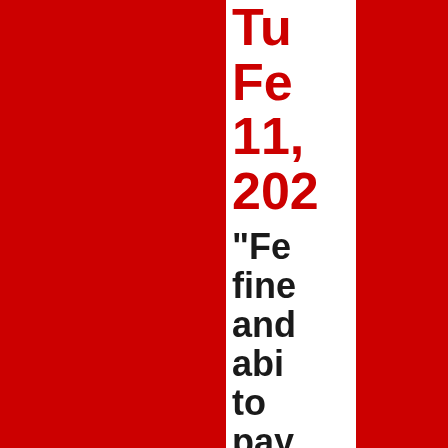Tu
Fe
11,
202
"Fe fine and abi to pay
The title of this post is the title of this new Hill